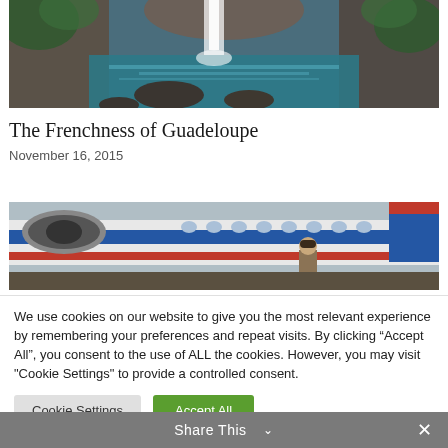[Figure (photo): Landscape photo of a waterfall cascading into a turquoise pool with rocky cliffs and tropical vegetation]
The Frenchness of Guadeloupe
November 16, 2015
[Figure (photo): Vintage photo of a propeller airplane with red, white, and blue stripes; a person is visible near the boarding stairs]
We use cookies on our website to give you the most relevant experience by remembering your preferences and repeat visits. By clicking “Accept All”, you consent to the use of ALL the cookies. However, you may visit "Cookie Settings" to provide a controlled consent.
Cookie Settings   Accept All
Share This ∨   ×